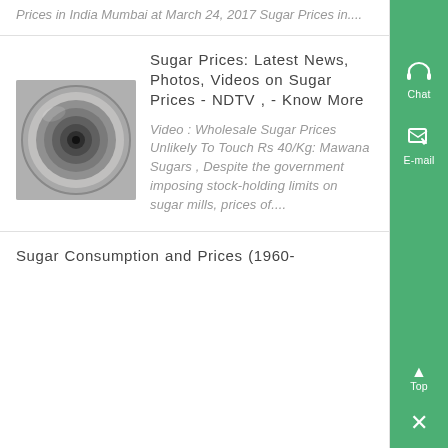Prices in India Mumbai at March 24, 2017 Sugar Prices in....
Sugar Prices: Latest News, Photos, Videos on Sugar Prices - NDTV , - Know More
[Figure (photo): Close-up photo of a spiral tube or pipe opening, gray tones]
Video : Wholesale Sugar Prices Unlikely To Touch Rs 40/Kg: Mawana Sugars , Despite the government imposing stock-holding limits on sugar mills, prices of....
Sugar Consumption and Prices (1960-